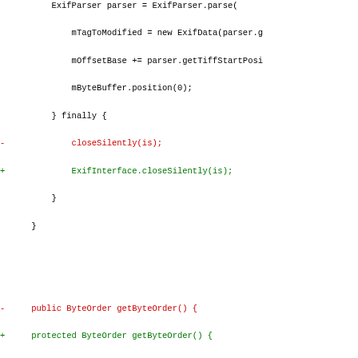[Figure (screenshot): Code diff showing Java source changes to ExifModifier class, with red lines (removed) and green lines (added), including changes to closeSilently, getByteOrder, and commit methods, plus hunk header and conditional checks for ifdDatas.]